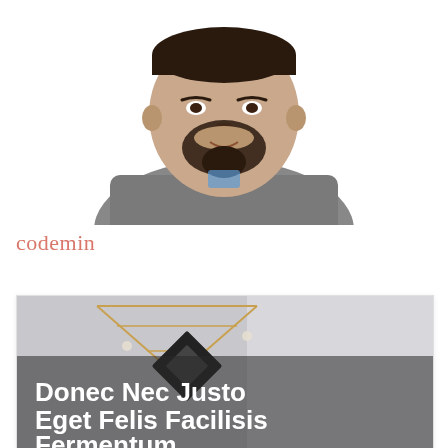[Figure (photo): Headshot of a bearded man in a gray t-shirt, upper body visible against white background]
codemin
[Figure (photo): Card with an image showing electronic/solar panel components on a gray background, overlaid with large white bold text reading 'Donec Nec Justo Eget Felis Facilisis Fermentum']